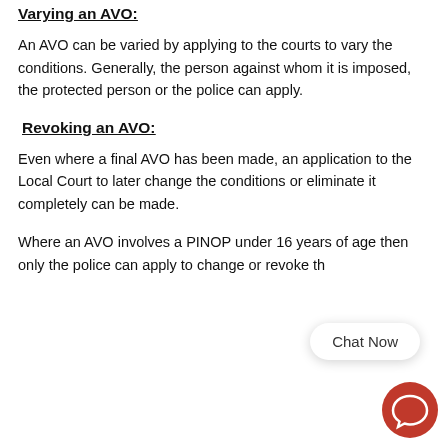Varying an AVO:
An AVO can be varied by applying to the courts to vary the conditions. Generally, the person against whom it is imposed, the protected person or the police can apply.
Revoking an AVO:
Even where a final AVO has been made, an application to the Local Court to later change the conditions or eliminate it completely can be made.
Where an AVO involves a PINOP under 16 years of age then only the police can apply to change or revoke th
[Figure (illustration): Chat Now button and chat icon in lower right corner]